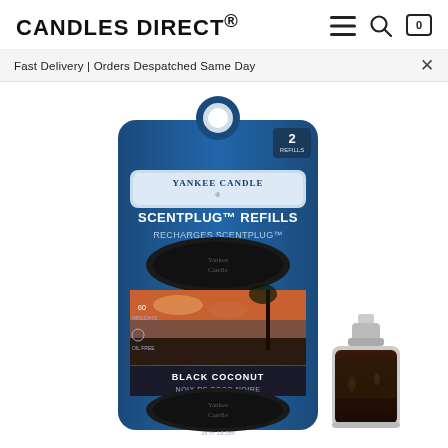CANDLES DIRECT®
Fast Delivery | Orders Despatched Same Day
[Figure (photo): Yankee Candle ScentPlug Refills Black Coconut product package (blue packaging with two refill pods) alongside a single refill bottle with dark liquid]